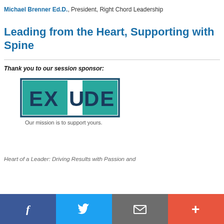Michael Brenner Ed.D., President, Right Chord Leadership
Leading from the Heart, Supporting with Spine
Thank you to our session sponsor:
[Figure (logo): EXUDE logo with tagline 'Our mission is to support yours.']
Heart of a Leader: Driving Results with Passion and
Social share bar: Facebook, Twitter, Email, Plus